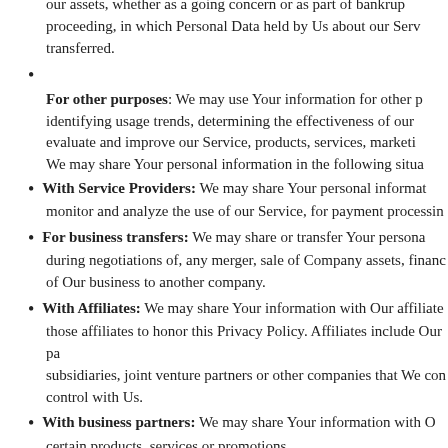our assets, whether as a going concern or as part of bankruptcy proceeding, in which Personal Data held by Us about our Service transferred.
For other purposes: We may use Your information for other purposes, identifying usage trends, determining the effectiveness of our evaluate and improve our Service, products, services, marketing. We may share Your personal information in the following situations:
With Service Providers: We may share Your personal information monitor and analyze the use of our Service, for payment processing
For business transfers: We may share or transfer Your personal during negotiations of, any merger, sale of Company assets, financing of Our business to another company.
With Affiliates: We may share Your information with Our affiliates, those affiliates to honor this Privacy Policy. Affiliates include Our parent, subsidiaries, joint venture partners or other companies that We control with Us.
With business partners: We may share Your information with Our certain products, services or promotions.
With other users: when You share personal information or other